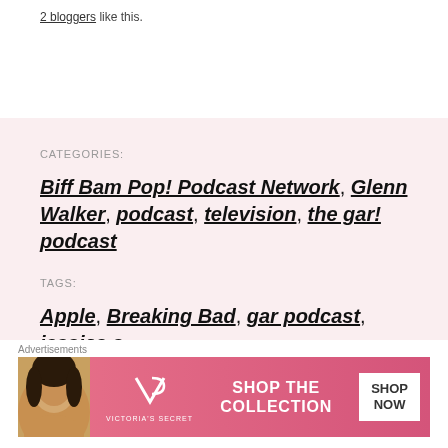2 bloggers like this.
CATEGORIES:
Biff Bam Pop! Podcast Network, Glenn Walker, podcast, television, the gar! podcast
TAGS:
Apple, Breaking Bad, gar podcast, jessica a. walsh, ray cornwall, Sons of Anarchy, south
Advertisements
[Figure (other): Victoria's Secret advertisement banner with model, logo, 'SHOP THE COLLECTION' text and 'SHOP NOW' button]